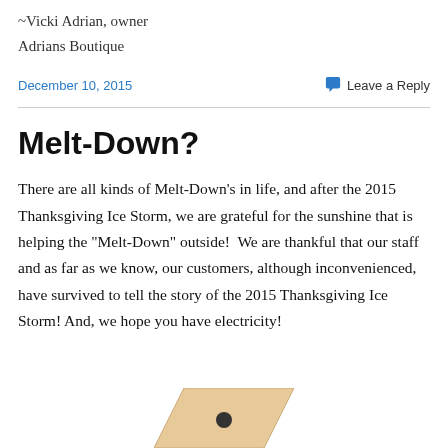~Vicki Adrian, owner
Adrians Boutique
December 10, 2015
Leave a Reply
Melt-Down?
There are all kinds of Melt-Down’s in life, and after the 2015 Thanksgiving Ice Storm, we are grateful for the sunshine that is helping the “Melt-Down” outside!  We are thankful that our staff and as far as we know, our customers, although inconvenienced, have survived to tell the story of the 2015 Thanksgiving Ice Storm! And, we hope you have electricity!
[Figure (illustration): Partial illustration of a tilted geometric shape, likely part of a decorative image]